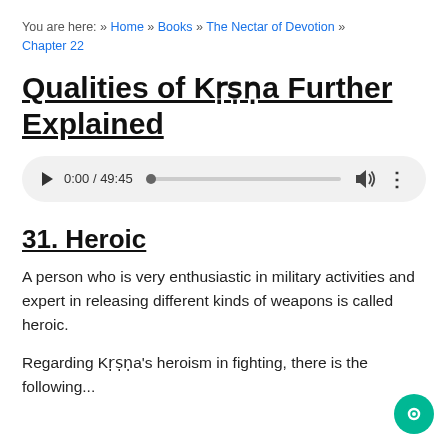You are here: » Home » Books » The Nectar of Devotion » Chapter 22
Qualities of Kṛṣṇa Further Explained
[Figure (other): Audio player widget showing 0:00 / 49:45 with play button, seek bar, volume, and options icons]
31. Heroic
A person who is very enthusiastic in military activities and expert in releasing different kinds of weapons is called heroic.
Regarding Kṛṣṇa's heroism in fighting, there is the following...